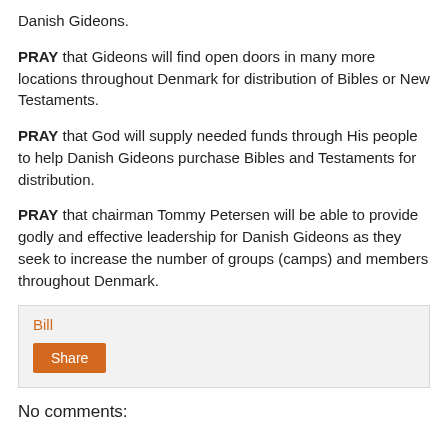Danish Gideons.
PRAY that Gideons will find open doors in many more locations throughout Denmark for distribution of Bibles or New Testaments.
PRAY that God will supply needed funds through His people to help Danish Gideons purchase Bibles and Testaments for distribution.
PRAY that chairman Tommy Petersen will be able to provide godly and effective leadership for Danish Gideons as they seek to increase the number of groups (camps) and members throughout Denmark.
Bill
Share
No comments: